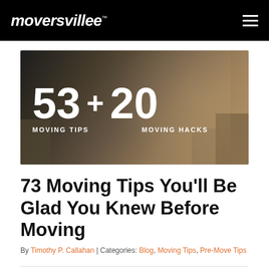moversvilleᵀᴹ
[Figure (photo): Hero image showing a couple happily moving, with text overlay reading '53 + 20 MOVING TIPS MOVING HACKS']
73 Moving Tips You'll Be Glad You Knew Before Moving
By Timothy P. Callahan | Categories: Blog, Moving Tips, Pre-Move Tips